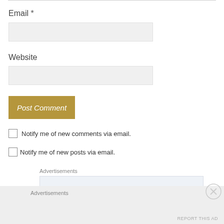Email *
Website
Post Comment
Notify me of new comments via email.
Notify me of new posts via email.
Advertisements
[Figure (screenshot): Advertisement banner showing partial text 'Build a writing...' in large serif font on light blue background]
Advertisements
REPORT THIS AD